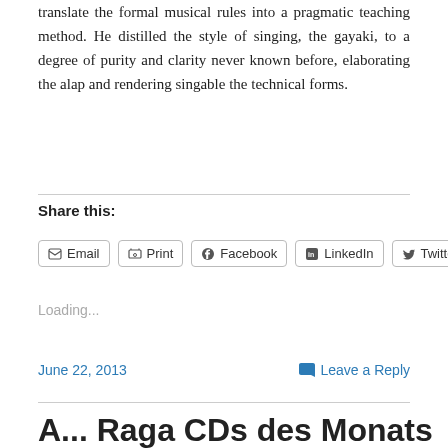translate the formal musical rules into a pragmatic teaching method. He distilled the style of singing, the gayaki, to a degree of purity and clarity never known before, elaborating the alap and rendering singable the technical forms.
Share this:
Email  Print  Facebook  LinkedIn  Twitter
Loading...
June 22, 2013   Leave a Reply
A... Raga CDs des Monats